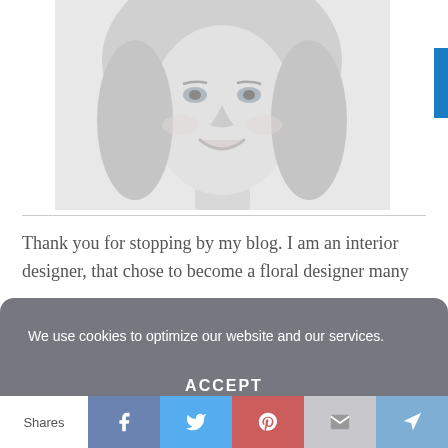[Figure (photo): Black and white portrait photo of a smiling blonde woman, cropped to show face and upper body]
Thank you for stopping by my blog. I am an interior designer, that chose to become a floral designer many
We use cookies to optimize our website and our services.
ACCEPT
Shares